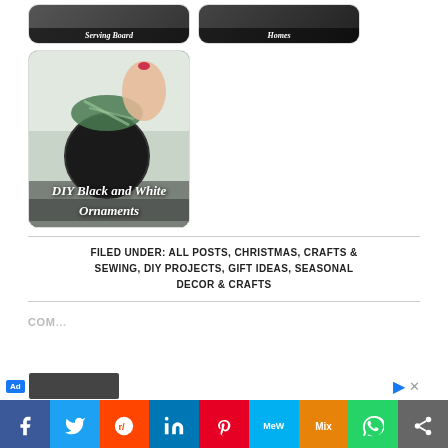[Figure (photo): Two thumbnail cards at top: 'Serving Board' and 'Homes' with dark background images]
[Figure (photo): Large card with DIY black and white Christmas ornaments — hand holding striped ribbon bow on ornament]
FILED UNDER: ALL POSTS, CHRISTMAS, CRAFTS & SEWING, DIY PROJECTS, GIFT IDEAS, SEASONAL DECOR & CRAFTS
COM...
[Figure (screenshot): Social sharing bar with Facebook, Twitter, Reddit, LinkedIn, Pinterest, MeWe, Mix, WhatsApp, Share buttons]